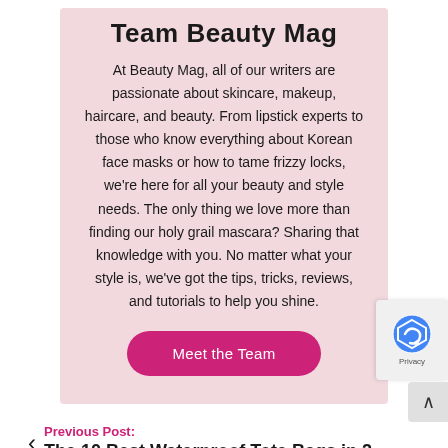Team Beauty Mag
At Beauty Mag, all of our writers are passionate about skincare, makeup, haircare, and beauty. From lipstick experts to those who know everything about Korean face masks or how to tame frizzy locks, we're here for all your beauty and style needs. The only thing we love more than finding our holy grail mascara? Sharing that knowledge with you. No matter what your style is, we've got the tips, tricks, reviews, and tutorials to help you shine.
Meet the Team
Previous Post:
The 10 Best Waterproof Tote Bags in 2
Next Post: